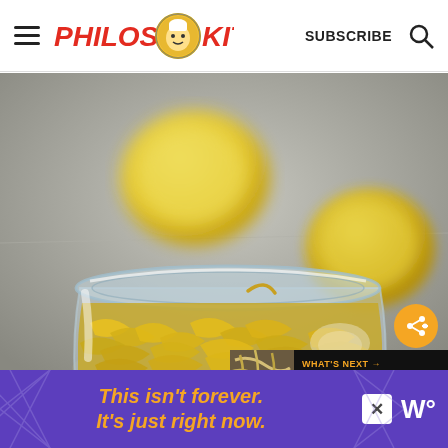Philos Kitchen — SUBSCRIBE
[Figure (photo): A glass jar filled with candied lemon peel strips, with two whole lemons blurred in the background on a gray surface.]
WHAT'S NEXT → HOMEMADE TORTELLINI...
This isn't forever. It's just right now.